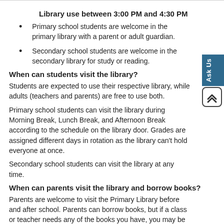Library use between 3:00 PM and 4:30 PM
Primary school students are welcome in the primary library with a parent or adult guardian.
Secondary school students are welcome in the secondary library for study or reading.
When can students visit the library?
Students are expected to use their respective library, while adults (teachers and parents) are free to use both.
Primary school students can visit the library during Morning Break, Lunch Break, and Afternoon Break according to the schedule on the library door. Grades are assigned different days in rotation as the library can't hold everyone at once.
Secondary school students can visit the library at any time.
When can parents visit the library and borrow books?
Parents are welcome to visit the Primary Library before and after school. Parents can borrow books, but if a class or teacher needs any of the books you have, you may be asked to return them.